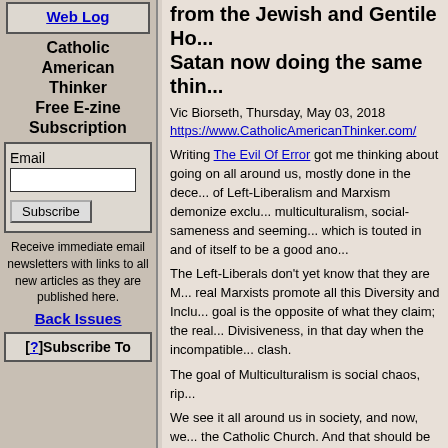Web Log
Catholic American Thinker Free E-zine Subscription
Email [input] Subscribe
Receive immediate email newsletters with links to all new articles as they are published here.
Back Issues
[?]Subscribe To
from the Jewish and Gentile Ho... Satan now doing the same thin...
Vic Biorseth, Thursday, May 03, 2018
https://www.CatholicAmericanThinker.com/
Writing The Evil Of Error got me thinking about going on all around us, mostly done in the dece... of Left-Liberalism and Marxism demonize exclu... multiculturalism, social-sameness and seeming... which is touted in and of itself to be a good ano...
The Left-Liberals don't yet know that they are M... real Marxists promote all this Diversity and Inclu... goal is the opposite of what they claim; the real... Divisiveness, in that day when the incompatible... clash.
The goal of Multiculturalism is social chaos, rip...
We see it all around us in society, and now, we... the Catholic Church. And that should be the ca... the geopolitical situation.
As we have stated elsewhere herein, the Catho... Church Christ founded. The historical evidence... quantity and irrefutable in quality. That is an in...